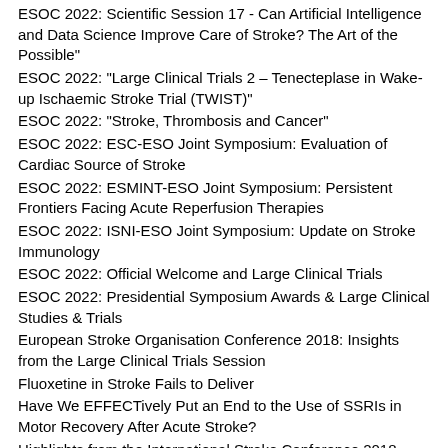ESOC 2022: Scientific Session 17 - Can Artificial Intelligence and Data Science Improve Care of Stroke? The Art of the Possible"
ESOC 2022: "Large Clinical Trials 2 – Tenecteplase in Wake-up Ischaemic Stroke Trial (TWIST)"
ESOC 2022: "Stroke, Thrombosis and Cancer"
ESOC 2022: ESC-ESO Joint Symposium: Evaluation of Cardiac Source of Stroke
ESOC 2022: ESMINT-ESO Joint Symposium: Persistent Frontiers Facing Acute Reperfusion Therapies
ESOC 2022: ISNI-ESO Joint Symposium: Update on Stroke Immunology
ESOC 2022: Official Welcome and Large Clinical Trials
ESOC 2022: Presidential Symposium Awards & Large Clinical Studies & Trials
European Stroke Organisation Conference 2018: Insights from the Large Clinical Trials Session
Fluoxetine in Stroke Fails to Deliver
Have We EFFECTively Put an End to the Use of SSRIs in Motor Recovery After Acute Stroke?
Highlights from the International Stroke Conference 2018
How Long Should We Give Dual Antiplatelet Therapy After Minor Acute Ischemic Stroke?
Identifying and treating paroxysmal atrial fibrillation: Many questions still remain- A report from the ISC